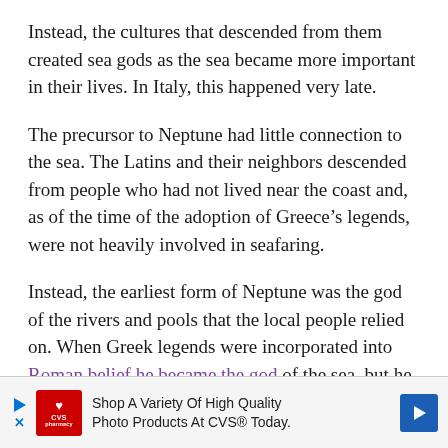Instead, the cultures that descended from them created sea gods as the sea became more important in their lives. In Italy, this happened very late.
The precursor to Neptune had little connection to the sea. The Latins and their neighbors descended from people who had not lived near the coast and, as of the time of the adoption of Greece’s legends, were not heavily involved in seafaring.
Instead, the earliest form of Neptune was the god of the rivers and pools that the local people relied on. When Greek legends were incorporated into Roman belief he became the god of the sea, but he retained his connection to inland water as well.
[Figure (other): Advertisement banner for CVS pharmacy: Shop A Variety Of High Quality Photo Products At CVS Today.]